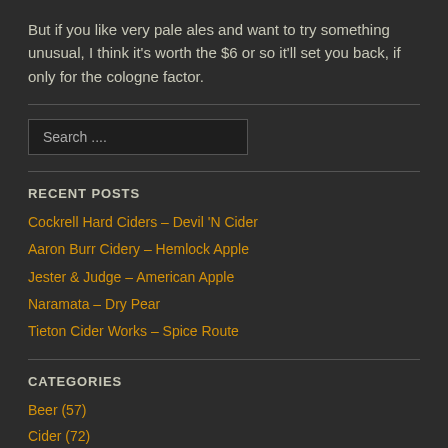But if you like very pale ales and want to try something unusual, I think it's worth the $6 or so it'll set you back, if only for the cologne factor.
Search ....
RECENT POSTS
Cockrell Hard Ciders – Devil 'N Cider
Aaron Burr Cidery – Hemlock Apple
Jester & Judge – American Apple
Naramata – Dry Pear
Tieton Cider Works – Spice Route
CATEGORIES
Beer (57)
Cider (72)